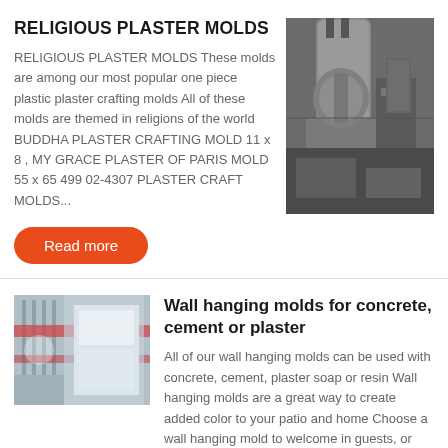RELIGIOUS PLASTER MOLDS
RELIGIOUS PLASTER MOLDS These molds are among our most popular one piece plastic plaster crafting molds All of these molds are themed in religions of the world BUDDHA PLASTER CRAFTING MOLD 11 x 8 , MY GRACE PLASTER OF PARIS MOLD 55 x 65 499 02-4307 PLASTER CRAFT MOLDS...
[Figure (photo): Industrial machinery or equipment in a factory setting, gray metallic tanks and structures]
[Figure (photo): Wall hanging molds displayed in a workshop or store setting with blue and white elements]
Wall hanging molds for concrete, cement or plaster
All of our wall hanging molds can be used with concrete, cement, plaster soap or resin Wall hanging molds are a great way to create added color to your patio and home Choose a wall hanging mold to welcome in guests, or just add...